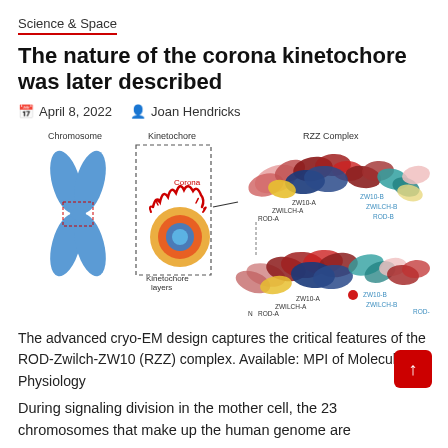Science & Space
The nature of the corona kinetochore was later described
April 8, 2022  Joan Hendricks
[Figure (illustration): Scientific diagram showing chromosome structure on the left with a kinetochore detail box (dashed outline) labeling 'Corona' and 'Kinetochore layers', connected via a line to a molecular structure illustration on the right labeled 'RZZ Complex' showing two views of the ROD-Zwilch-ZW10 protein complex with labeled subunits ZW10-A, ZW10-B, ROD-A, ROD-B and ZWILCH-A, ZWILCH-B.]
The advanced cryo-EM design captures the critical features of the ROD-Zwilch-ZW10 (RZZ) complex. Available: MPI of Molecular Physiology
During signaling division in the mother cell, the 23 chromosomes that make up the human genome are